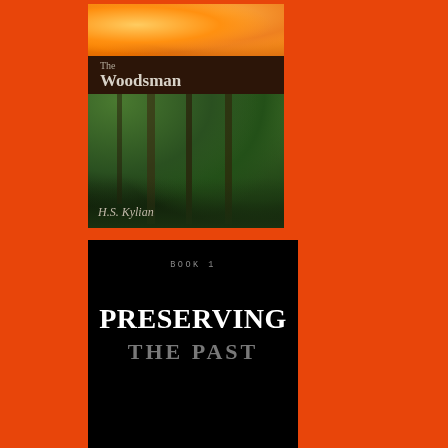[Figure (illustration): Book cover for 'The Woodsman' by H.S. Kylian. Top portion shows orange flower/marigold, middle section has a dark brown title band with 'The Woodsman' text, lower portion shows a forest scene with ferns and trees, and author name 'H.S. Kylian' at bottom.]
[Figure (illustration): Book cover for 'Preserving the Past' Book 1. Black background with 'BOOK 1' in small text at top, 'PRESERVING' in large white serif text, and 'THE PAST' in large grey serif text below.]